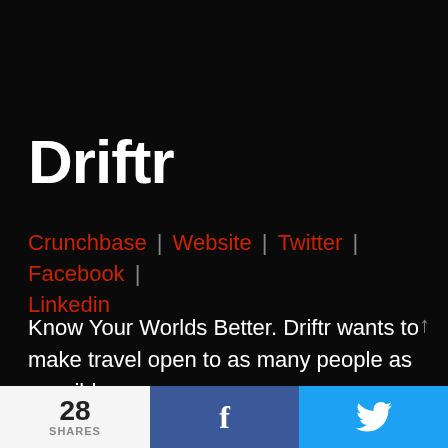Driftr
Crunchbase | Website | Twitter | Facebook | Linkedin
Know Your Worlds Better. Driftr wants to make travel open to as many people as possible.
We seek to bridge today's mobile all-the-
28 SHARES  f  🐦